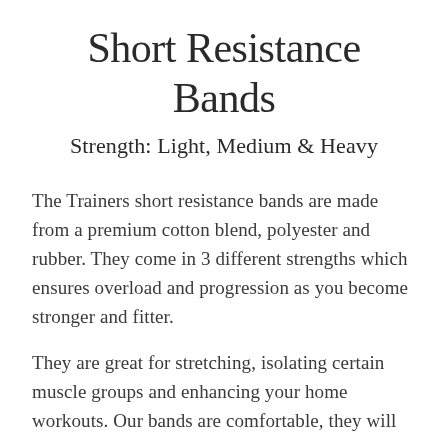Short Resistance Bands
Strength: Light, Medium & Heavy
The Trainers short resistance bands are made from a premium cotton blend, polyester and rubber. They come in 3 different strengths which ensures overload and progression as you become stronger and fitter.
They are great for stretching, isolating certain muscle groups and enhancing your home workouts. Our bands are comfortable, they will